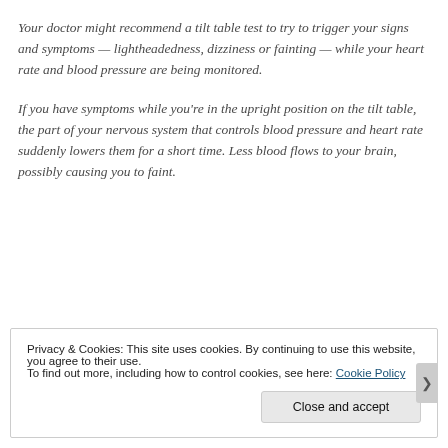Your doctor might recommend a tilt table test to try to trigger your signs and symptoms — lightheadedness, dizziness or fainting — while your heart rate and blood pressure are being monitored.
If you have symptoms while you're in the upright position on the tilt table, the part of your nervous system that controls blood pressure and heart rate suddenly lowers them for a short time. Less blood flows to your brain, possibly causing you to faint.
Privacy & Cookies: This site uses cookies. By continuing to use this website, you agree to their use.
To find out more, including how to control cookies, see here: Cookie Policy